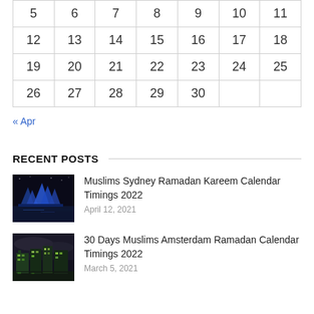| 5 | 6 | 7 | 8 | 9 | 10 | 11 |
| 12 | 13 | 14 | 15 | 16 | 17 | 18 |
| 19 | 20 | 21 | 22 | 23 | 24 | 25 |
| 26 | 27 | 28 | 29 | 30 |  |  |
« Apr
RECENT POSTS
Muslims Sydney Ramadan Kareem Calendar Timings 2022
April 12, 2021
30 Days Muslims Amsterdam Ramadan Calendar Timings 2022
March 5, 2021